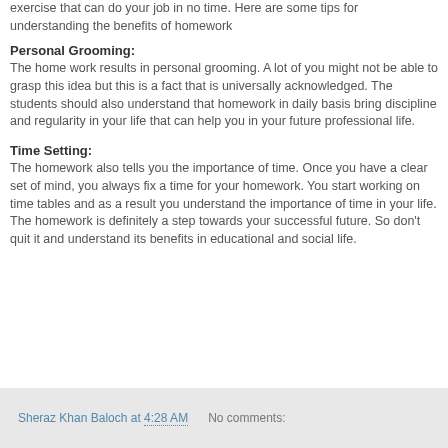exercise that can do your job in no time. Here are some tips for understanding the benefits of homework
Personal Grooming:
The home work results in personal grooming. A lot of you might not be able to grasp this idea but this is a fact that is universally acknowledged. The students should also understand that homework in daily basis bring discipline and regularity in your life that can help you in your future professional life.
Time Setting:
The homework also tells you the importance of time. Once you have a clear set of mind, you always fix a time for your homework. You start working on time tables and as a result you understand the importance of time in your life. The homework is definitely a step towards your successful future. So don't quit it and understand its benefits in educational and social life.
Sheraz Khan Baloch at 4:28 AM   No comments: